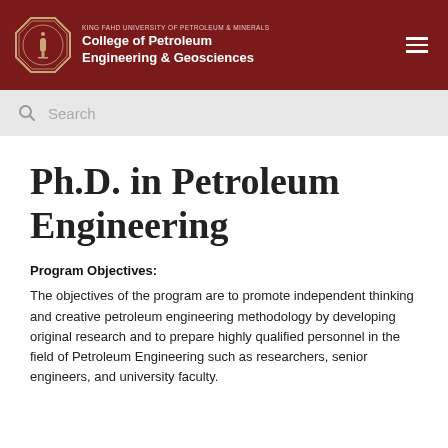KING FAHD UNIVERSITY OF PETROLEUM & MINERALS College of Petroleum Engineering & Geosciences
Ph.D. in Petroleum Engineering
Program Objectives:
The objectives of the program are to promote independent thinking and creative petroleum engineering methodology by developing original research and to prepare highly qualified personnel in the field of Petroleum Engineering such as researchers, senior engineers, and university faculty.